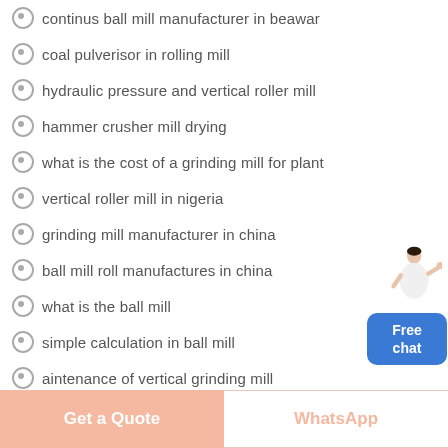continus ball mill manufacturer in beawar
coal pulverisor in rolling mill
hydraulic pressure and vertical roller mill
hammer crusher mill drying
what is the cost of a grinding mill for plant
vertical roller mill in nigeria
grinding mill manufacturer in china
ball mill roll manufactures in china
what is the ball mill
simple calculation in ball mill
aintenance of vertical grinding mill
[Figure (illustration): Customer service agent with Free chat button widget on right side]
Get a Quote
WhatsApp